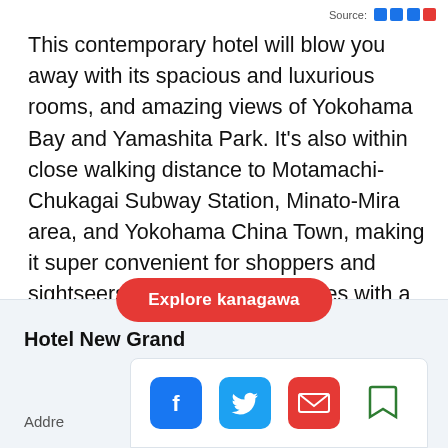Source: ■■ ■■
This contemporary hotel will blow you away with its spacious and luxurious rooms, and amazing views of Yokohama Bay and Yamashita Park. It's also within close walking distance to Motamachi-Chukagai Subway Station, Minato-Mira area, and Yokohama China Town, making it super convenient for shoppers and sightseers. Furthermore, it comes with a plethora of niceties such as free WiFi access to surf the web, several salons to enjoy massages, and upscale restaurants to sample local and international cuisine.
Explore kanagawa
Hotel New Grand
Addre
[Figure (infographic): Social sharing icons: Facebook (blue), Twitter (blue bird), Email (red envelope), Bookmark (green outline)]